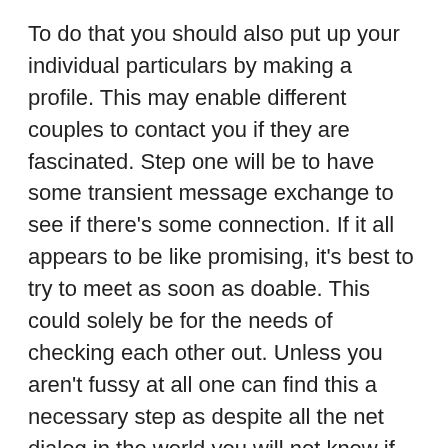To do that you should also put up your individual particulars by making a profile. This may enable different couples to contact you if they are fascinated. Step one will be to have some transient message exchange to see if there's some connection. If it all appears to be like promising, it's best to try to meet as soon as doable. This could solely be for the needs of checking each other out. Unless you aren't fussy at all one can find this a necessary step as despite all the net dialog in the world you will not know if you happen to all click until you meet each other.
Meal Preparation: Your loved one's health and well-being can be ensured by offering him nutritious and properly-balanced meals. With a caregiver around, you can be assured that an important duties related to the one you love's weight-reduction plan and